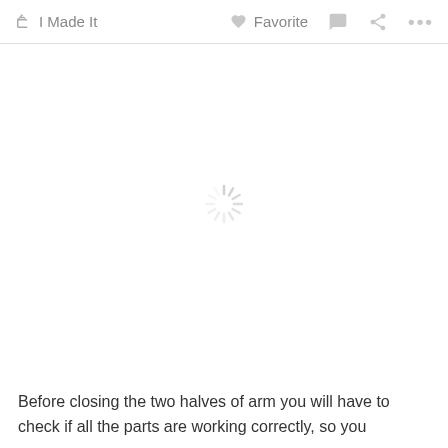I Made It   Favorite
[Figure (screenshot): Loading spinner (circular spokes) centered in a white area, indicating an image is loading]
Before closing the two halves of arm you will have to check if all the parts are working correctly, so you